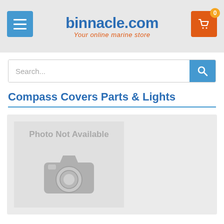[Figure (screenshot): binnacle.com website header with hamburger menu button on left, logo in center reading 'binnacle.com / Your online marine store', and shopping cart icon with badge '0' on right]
Search...
Compass Covers Parts & Lights
[Figure (photo): Photo Not Available placeholder image with grey camera icon]